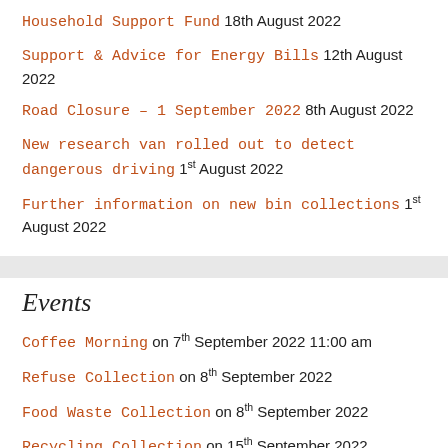Household Support Fund 18th August 2022
Support & Advice for Energy Bills 12th August 2022
Road Closure – 1 September 2022 8th August 2022
New research van rolled out to detect dangerous driving 1st August 2022
Further information on new bin collections 1st August 2022
Events
Coffee Morning on 7th September 2022 11:00 am
Refuse Collection on 8th September 2022
Food Waste Collection on 8th September 2022
Recycling Collection on 15th September 2022
Food Waste Collection on 15th September 2022